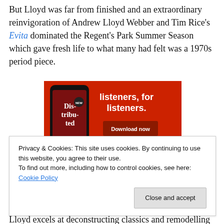But Lloyd was far from finished and an extraordinary reinvigoration of Andrew Lloyd Webber and Tim Rice's Evita dominated the Regent's Park Summer Season which gave fresh life to what many had felt was a 1970s period piece.
[Figure (other): Advertisement banner for a podcast app called 'Distributed' showing a smartphone with the app open on a red background. Text reads 'listeners, for listeners.' with a 'Download now' button.]
Privacy & Cookies: This site uses cookies. By continuing to use this website, you agree to their use.
To find out more, including how to control cookies, see here: Cookie Policy
Close and accept
Lloyd excels at deconstructing classics and remodelling